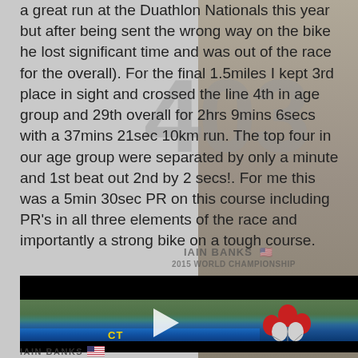a great run at the Duathlon Nationals this year but after being sent the wrong way on the bike he lost significant time and was out of the race for the overall). For the final 1.5miles I kept 3rd place in sight and crossed the line 4th in age group and 29th overall for 2hrs 9mins 6secs with a 37mins 21sec 10km run. The top four in our age group were separated by only a minute and 1st beat out 2nd by 2 secs!. For me this was a 5min 30sec PR on this course including PR's in all three elements of the race and importantly a strong bike on a tough course.
[Figure (photo): Video thumbnail showing a lake/river scene with red, white balloons, a blue barrier with 'CT' text in yellow, and a play button overlay. Black bars at top and bottom.]